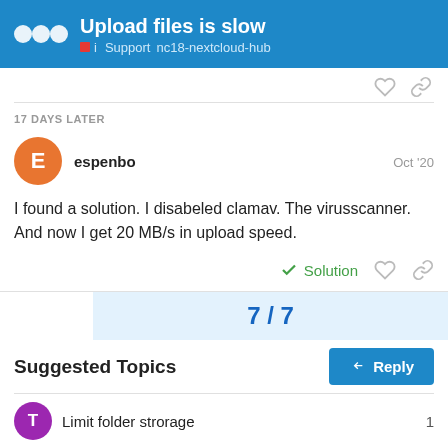Upload files is slow — Support nc18-nextcloud-hub
17 DAYS LATER
espenbo  Oct '20
I found a solution. I disabeled clamav. The virusscanner. And now I get 20 MB/s in upload speed.
Solution
7 / 7
Reply
Suggested Topics
Limit folder strorage  1